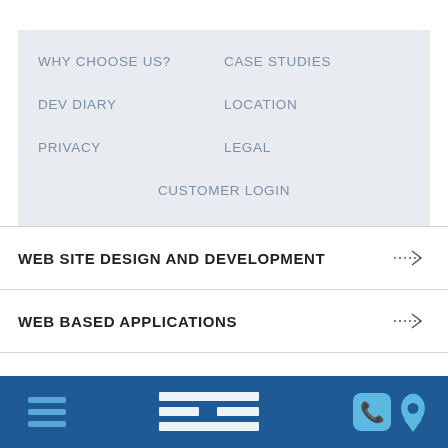WHY CHOOSE US?
CASE STUDIES
DEV DIARY
LOCATION
PRIVACY
LEGAL
CUSTOMER LOGIN
WEB SITE DESIGN AND DEVELOPMENT
WEB BASED APPLICATIONS
SYSTEMS INTEGRATION
SERVICES & TECHNICAL SUPPORT
[Figure (logo): Blue footer bar with hamburger menu icon on left, WDI logo in center, phone and location icons on right]